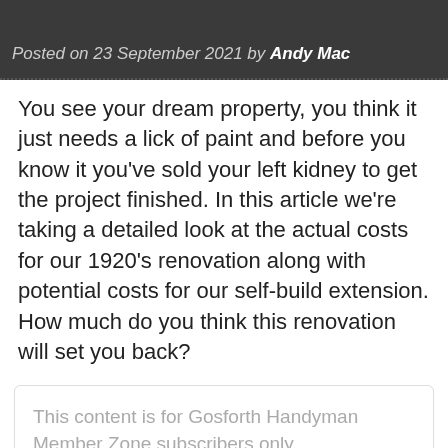Posted on 23 September 2021 by Andy Mac
You see your dream property, you think it just needs a lick of paint and before you know it you've sold your left kidney to get the project finished. In this article we're taking a detailed look at the actual costs for our 1920's renovation along with potential costs for our self-build extension. How much do you think this renovation will set you back?
This content is for Gosforth Handyman Member Zone subscribers only.